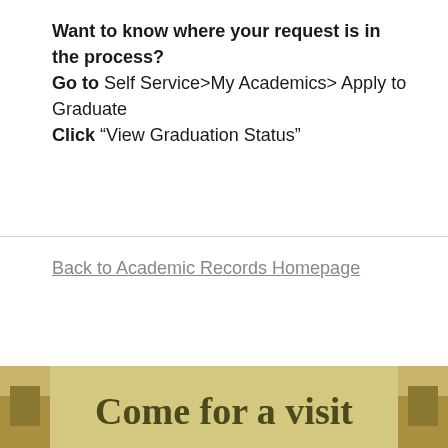Want to know where your request is in the process? Go to Self Service>My Academics> Apply to Graduate Click "View Graduation Status"
Back to Academic Records Homepage
[Figure (photo): Bottom banner image with text 'Come for a visit' in bold serif font over a golden/wheat-colored background with partial landscape imagery on either side]